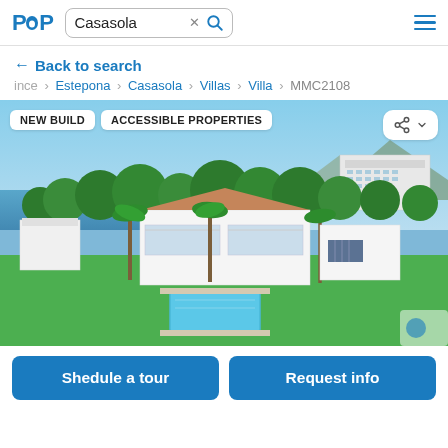PTOP — Casasola search bar with hamburger menu
← Back to search
ince › Estepona › Casasola › Villas › Villa › MMC2108
[Figure (photo): Aerial drone photo of a modern luxury villa in Casasola, Estepona, Spain. The villa is white with a terracotta roof and large glazed terraces, surrounded by palm trees and lush gardens. A swimming pool is visible in the foreground. In the background there is the Mediterranean sea, a marina, a large white hotel building, and mountains under a clear blue sky. Two badge overlays read NEW BUILD and ACCESSIBLE PROPERTIES. A share icon with a chevron is in the top-right corner.]
Shedule a tour
Request info